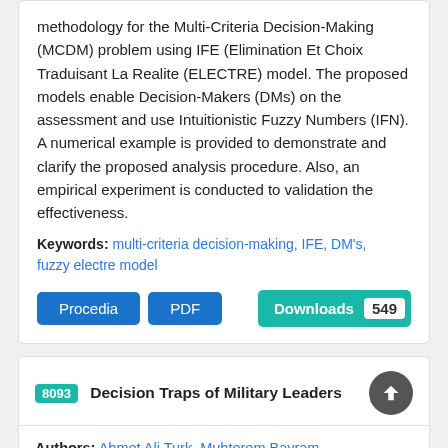methodology for the Multi-Criteria Decision-Making (MCDM) problem using IFE (Elimination Et Choix Traduisant La Realite (ELECTRE) model. The proposed models enable Decision-Makers (DMs) on the assessment and use Intuitionistic Fuzzy Numbers (IFN). A numerical example is provided to demonstrate and clarify the proposed analysis procedure. Also, an empirical experiment is conducted to validation the effectiveness.
Keywords: multi-criteria decision-making, IFE, DM's, fuzzy electre model
Procedia  PDF  Downloads 549
8093  Decision Traps of Military Leaders
Authors: Ahmet Ali Turk, Muhterem Bayram